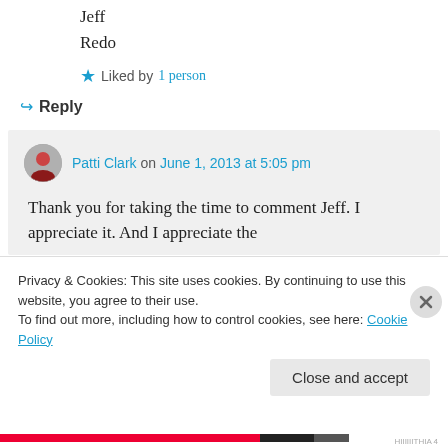Jeff
Redo
★ Liked by 1 person
↪ Reply
Patti Clark on June 1, 2013 at 5:05 pm
Thank you for taking the time to comment Jeff. I appreciate it. And I appreciate the
Privacy & Cookies: This site uses cookies. By continuing to use this website, you agree to their use. To find out more, including how to control cookies, see here: Cookie Policy
Close and accept